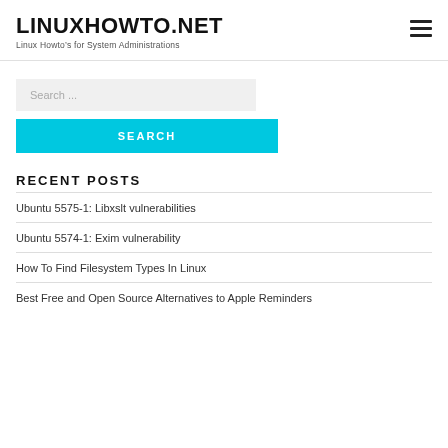LINUXHOWTO.NET
Linux Howto’s for System Administrations
Search ...
SEARCH
RECENT POSTS
Ubuntu 5575-1: Libxslt vulnerabilities
Ubuntu 5574-1: Exim vulnerability
How To Find Filesystem Types In Linux
Best Free and Open Source Alternatives to Apple Reminders